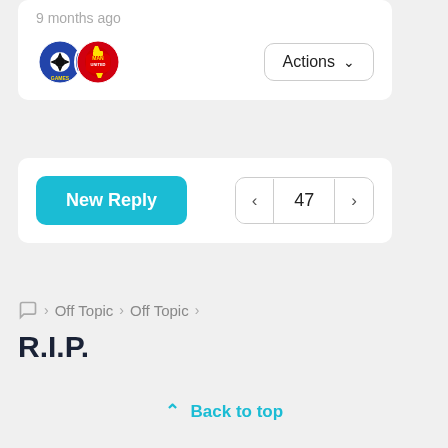9 months ago
Actions
New Reply
47
Off Topic > Off Topic >
R.I.P.
Back to top